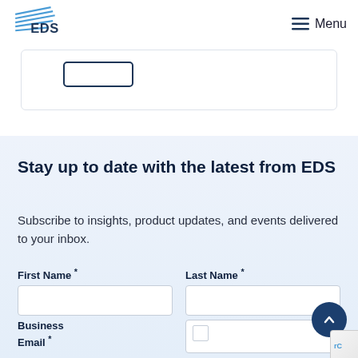EDS — Menu
[Figure (screenshot): Partial card/form element at top with a bordered button visible]
Stay up to date with the latest from EDS
Subscribe to insights, product updates, and events delivered to your inbox.
First Name * | Last Name * | Business Email *